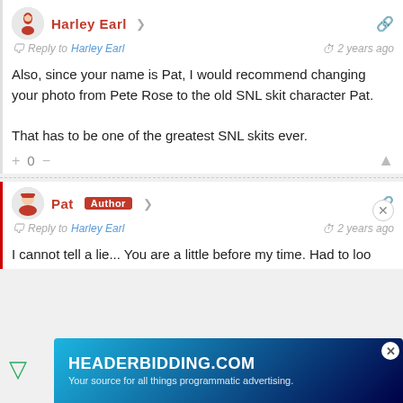Harley Earl
Reply to Harley Earl  2 years ago
Also, since your name is Pat, I would recommend changing your photo from Pete Rose to the old SNL skit character Pat.

That has to be one of the greatest SNL skits ever.
+ 0 —
Pat  Author
Reply to Harley Earl  2 years ago
I cannot tell a lie... You are a little before my time. Had to loo
[Figure (infographic): HEADERBIDDING.COM advertisement banner: 'Your source for all things programmatic advertising.']